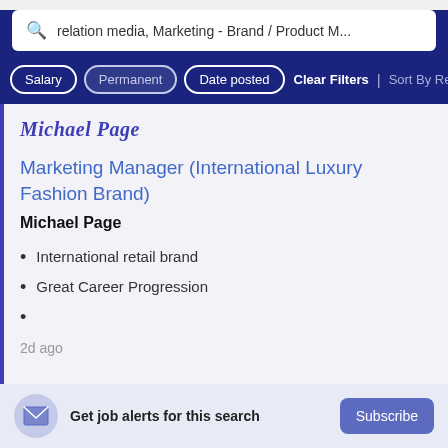relation media, Marketing - Brand / Product M...
Salary | Permanent | Date posted | Clear Filters | Sort By Rel
Michael Page
Marketing Manager (International Luxury Fashion Brand)
Michael Page
International retail brand
Great Career Progression
2d ago
Get job alerts for this search